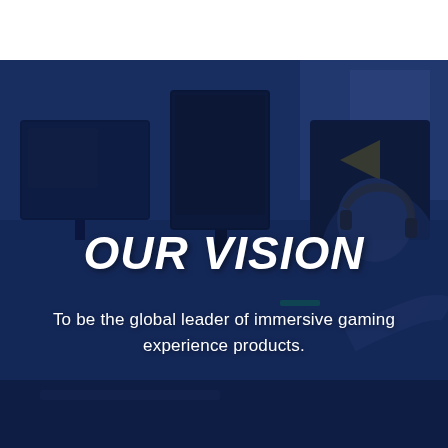[Figure (photo): A gamer wearing headphones sitting in front of multiple monitors in a dark gaming room, overlaid with a dark blue tint.]
OUR VISION
To be the global leader of immersive gaming experience products.